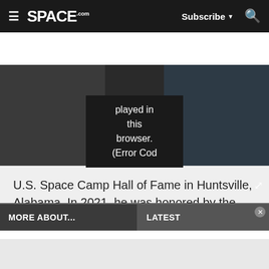SPACE.com — Subscribe | Search
[Figure (screenshot): Video player area showing error message: played in this browser. (Error Cod — with space imagery visible on left and right sides]
U.S. Space Camp Hall of Fame in Huntsville, Alabama. In 2021, he was honored by the American Astronautical Society with the Ordway Award for Sustained Excellence in Spaceflight History.
MORE ABOUT...
LATEST